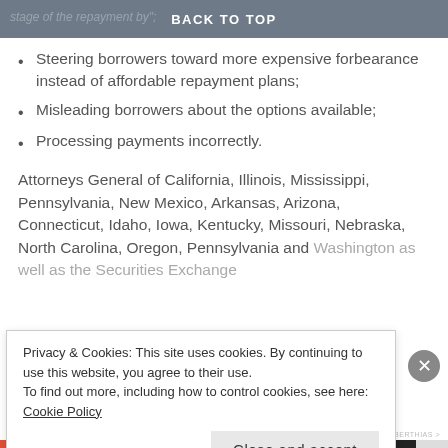BACK TO TOP
Steering borrowers toward more expensive forbearance instead of affordable repayment plans;
Misleading borrowers about the options available;
Processing payments incorrectly.
Attorneys General of California, Illinois, Mississippi, Pennsylvania, New Mexico, Arkansas, Arizona, Connecticut, Idaho, Iowa, Kentucky, Missouri, Nebraska, North Carolina, Oregon, Pennsylvania and Washington as well as the Securities Exchange...
Privacy & Cookies: This site uses cookies. By continuing to use this website, you agree to their use.
To find out more, including how to control cookies, see here: Cookie Policy